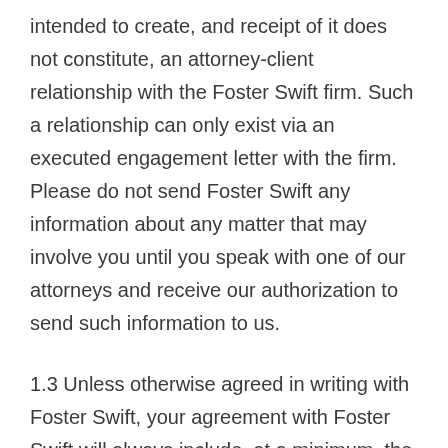intended to create, and receipt of it does not constitute, an attorney-client relationship with the Foster Swift firm. Such a relationship can only exist via an executed engagement letter with the firm.  Please do not send Foster Swift any information about any matter that may involve you until you speak with one of our attorneys and receive our authorization to send such information to us.
1.3 Unless otherwise agreed in writing with Foster Swift, your agreement with Foster Swift will always include, at a minimum, the terms and conditions set out in this document. These are referred to below as the “Universal Terms”.